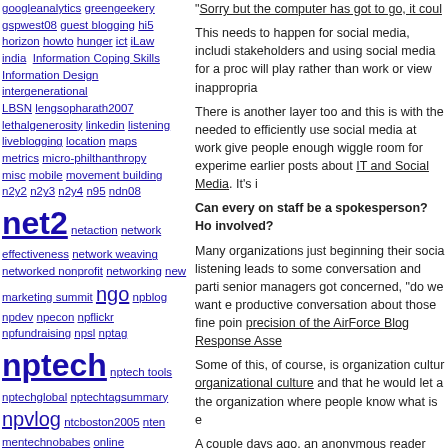googleanalytics greengeekery gspwest08 guest blogging hi5 horizon howto hunger ict iLaw india Information Coping Skills Information Design intergenerational LBSN lengsopharath2007 lethalgenerosity linkedin listening liveblogging location maps metrics micro-philthanthropy misc mobile movement building n2y2 n2y3 n2y4 n95 ndn08 net2 netaction network effectiveness network weaving networked nonprofit networking new marketing summit ngo npblog npdev npecon npflickr npfundraising npsl nptag nptech nptech tools nptechglobal nptechtagsummary npvlog ntcboston2005 nten mentechnobabes online communities opensocial openthread org2.0 Paper Arts participatory pch08 penguinday People pinko marketing podcamp podcasting policy powerpoint promotion randomactsofkindness realtimeweb reflection relationships Religion remix ROI romania RSS rssreaders sandbox scholar screencast sharingfoundation shesgeeky skype slideshare
"Sorry but the computer has got to go, it coul...
This needs to happen for social media, includi... stakeholders and using social media for a proc... will play rather than work or view inappropria...
There is another layer too and this is with the... needed to efficiently use social media at work... give people enough wiggle room for experime... earlier posts about IT and Social Media. It's i...
Can every on staff be a spokesperson? Ho... involved?
Many organizations just beginning their socia... listening leads to some conversation and parti... senior managers got concerned, "do we want e... productive conversation about those fine poin... precision of the AirForce Blog Response Asse...
Some of this, of course, is organization cultur... organizational culture and that he would let a... the organization where people know what is e...
A couple days ago, an anonymous reader who... marketing department want to approval of Fac... supporters just set it up on their own. This is... While some organizations may have very form... contracts, the social contract between your sta...